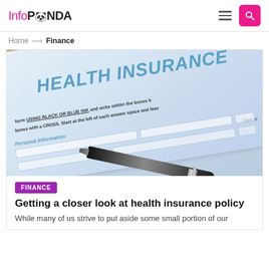InfoPANDA — Home → Finance
[Figure (photo): Close-up photo of a Health Insurance form document with a pen resting on it. The form shows text 'HEALTH INSURANCE' in large blue italic letters, and instructions including 'USING BLACK OR BLUE INK and write within the boxes', 'boxes with a CROSS. Start at the left of each answer space and lea', 'Personal Information', 'Date o']
FINANCE
Getting a closer look at health insurance policy
While many of us strive to put aside some small portion of our